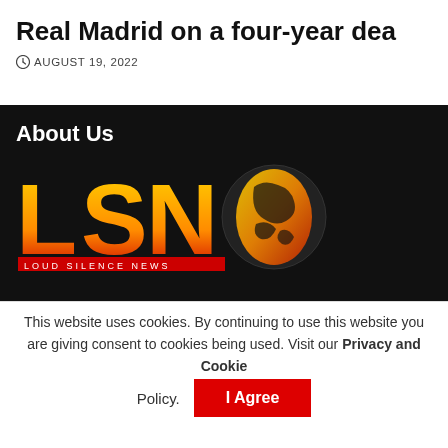Real Madrid on a four-year dea
AUGUST 19, 2022
About Us
[Figure (logo): LSN Loud Silence News logo with large yellow-to-red gradient letters LSN and a globe graphic with orange/red gradient continents on black background]
This website uses cookies. By continuing to use this website you are giving consent to cookies being used. Visit our Privacy and Cookie Policy.
I Agree